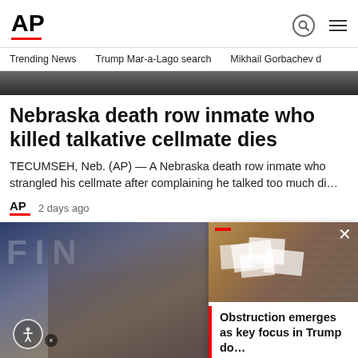AP
Trending News  Trump Mar-a-Lago search  Mikhail Gorbachev d
[Figure (photo): Dark partial image strip at top]
Nebraska death row inmate who killed talkative cellmate dies
TECUMSEH, Neb. (AP) — A Nebraska death row inmate who strangled his cellmate after complaining he talked too much di…
AP  2 days ago
[Figure (photo): Woman with dark hair and bangs in front of a sign reading FIN]
[Figure (photo): Documents scattered on surface with red bar overlay and close button. Card text: Obstruction emerges as key focus in Trump do…]